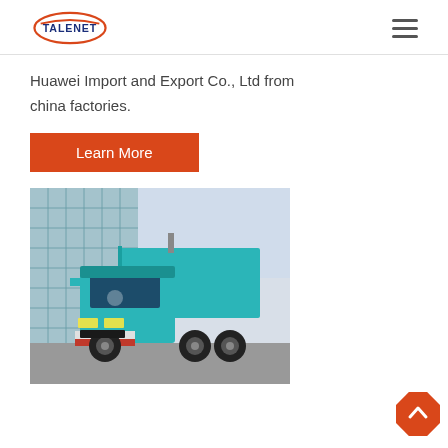TALENET
Huawei Import and Export Co., Ltd from china factories.
Learn More
[Figure (photo): A teal/turquoise heavy-duty dump truck parked in front of a glass-facade building. The truck is a HOWO brand 8-wheel dump truck with a raised dump bed.]